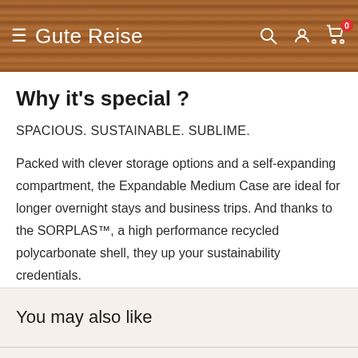Gute Reise
Why it's special ?
SPACIOUS. SUSTAINABLE. SUBLIME.
Packed with clever storage options and a self-expanding compartment, the Expandable Medium Case are ideal for longer overnight stays and business trips. And thanks to the SORPLAS™, a high performance recycled polycarbonate shell, they up your sustainability credentials.
You may also like